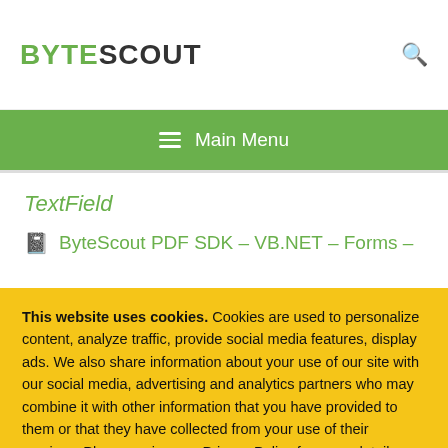BYTESCOUT
≡  Main Menu
TextField
ByteScout PDF SDK – VB.NET – Forms –
This website uses cookies. Cookies are used to personalize content, analyze traffic, provide social media features, display ads. We also share information about your use of our site with our social media, advertising and analytics partners who may combine it with other information that you have provided to them or that they have collected from your use of their services. Please review our Privacy Policy for more details or change cookies settings. By closing this banner or by clicking a link or continuing to browse otherwise, you consent to our cookies.
OK